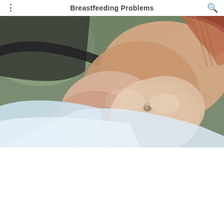Breastfeeding Problems
[Figure (photo): Close-up photograph of an infant breastfeeding, with the baby's face close to the mother's breast. The mother is wearing a rust-colored top with straps, and the baby appears to be wrapped in a white cloth. The image is taken outdoors with natural light and a blurred green background.]